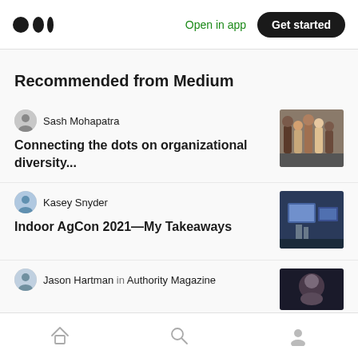Medium — Open in app — Get started
Recommended from Medium
Sash Mohapatra
Connecting the dots on organizational diversity…
[Figure (photo): Group of diverse people standing together]
Kasey Snyder
Indoor AgCon 2021—My Takeaways
[Figure (photo): Indoor agricultural conference scene with screens]
Jason Hartman in Authority Magazine
[Figure (photo): Person portrait photo]
Home | Search | Profile